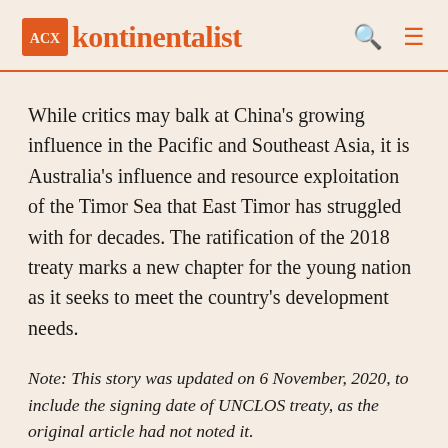kontinentalist
While critics may balk at China's growing influence in the Pacific and Southeast Asia, it is Australia's influence and resource exploitation of the Timor Sea that East Timor has struggled with for decades. The ratification of the 2018 treaty marks a new chapter for the young nation as it seeks to meet the country's development needs.
Note: This story was updated on 6 November, 2020, to include the signing date of UNCLOS treaty, as the original article had not noted it.